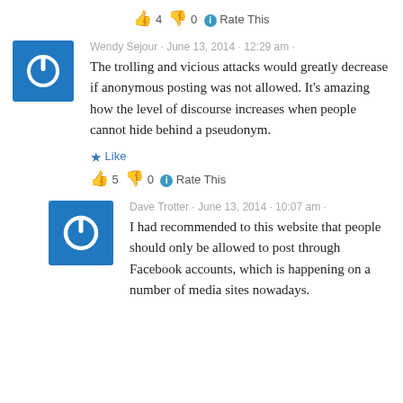👍 4 👎 0 ℹ Rate This
Wendy Sejour · June 13, 2014 · 12:29 am ·
The trolling and vicious attacks would greatly decrease if anonymous posting was not allowed. It's amazing how the level of discourse increases when people cannot hide behind a pseudonym.
★ Like
👍 5 👎 0 ℹ Rate This
Dave Trotter · June 13, 2014 · 10:07 am ·
I had recommended to this website that people should only be allowed to post through Facebook accounts, which is happening on a number of media sites nowadays.